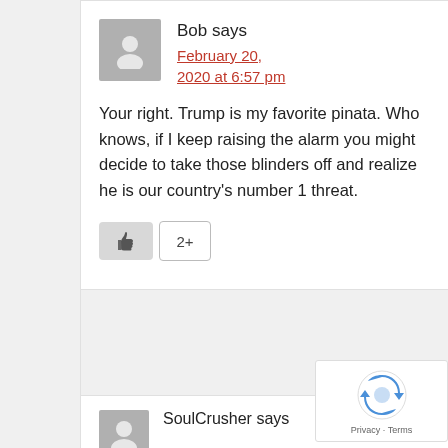Bob says
February 20, 2020 at 6:57 pm
Your right. Trump is my favorite pinata. Who knows, if I keep raising the alarm you might decide to take those blinders off and realize he is our country's number 1 threat.
[Figure (illustration): Like button with thumbs up icon and count showing 2+]
SoulCrusher says